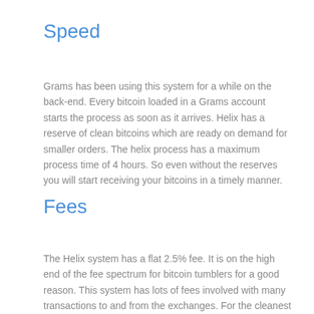Speed
Grams has been using this system for a while on the back-end. Every bitcoin loaded in a Grams account starts the process as soon as it arrives. Helix has a reserve of clean bitcoins which are ready on demand for smaller orders. The helix process has a maximum process time of 4 hours. So even without the reserves you will start receiving your bitcoins in a timely manner.
Fees
The Helix system has a flat 2.5% fee. It is on the high end of the fee spectrum for bitcoin tumblers for a good reason. This system has lots of fees involved with many transactions to and from the exchanges. For the cleanest bitcoins on the dark web we must top-up end prices to